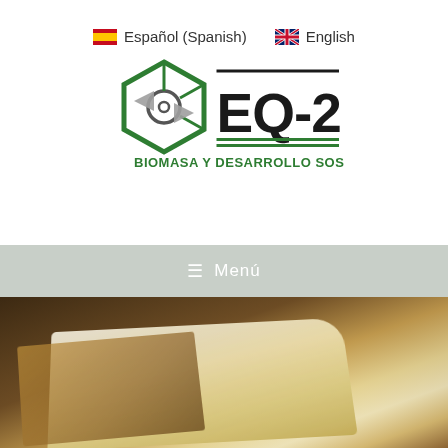🇪🇸 Español (Spanish)   🇬🇧 English
[Figure (logo): EQ-2 Biomasa y Desarrollo Sostenible logo — hexagonal green molecule icon with magnifying glass and arrow shapes, bold EQ-2 text, green underlines, and tagline BIOMASA Y DESARROLLO SOSTENIBLE]
☰ Menu
[Figure (photo): Blurred background photo of an open book with warm bokeh library shelves behind it]